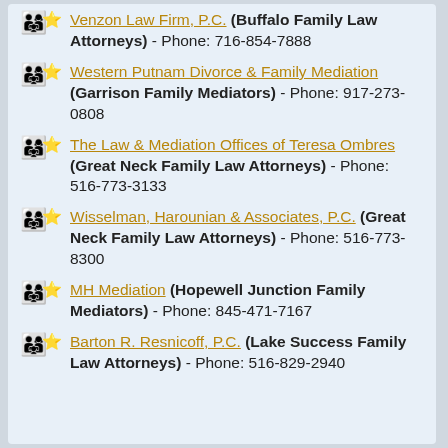Venzon Law Firm, P.C. (Buffalo Family Law Attorneys) - Phone: 716-854-7888
Western Putnam Divorce & Family Mediation (Garrison Family Mediators) - Phone: 917-273-0808
The Law & Mediation Offices of Teresa Ombres (Great Neck Family Law Attorneys) - Phone: 516-773-3133
Wisselman, Harounian & Associates, P.C. (Great Neck Family Law Attorneys) - Phone: 516-773-8300
MH Mediation (Hopewell Junction Family Mediators) - Phone: 845-471-7167
Barton R. Resnicoff, P.C. (Lake Success Family Law Attorneys) - Phone: 516-829-2940